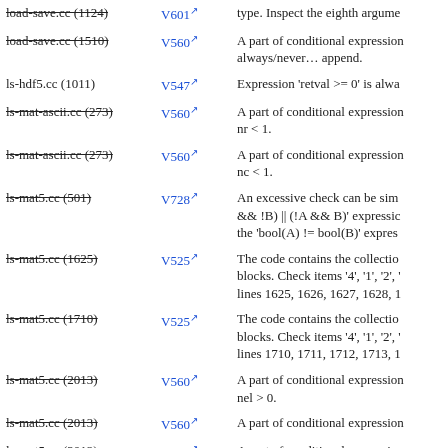| File | Code | Description |
| --- | --- | --- |
| load-save.cc (1124) | V601 | type. Inspect the eighth argume |
| load-save.cc (1510) | V560 | A part of conditional expression always/never... append. |
| ls-hdf5.cc (1011) | V547 | Expression 'retval >= 0' is alwa |
| ls-mat-ascii.cc (273) | V560 | A part of conditional expression... nr < 1. |
| ls-mat-ascii.cc (273) | V560 | A part of conditional expression... nc < 1. |
| ls-mat5.cc (501) | V728 | An excessive check can be sim... && !B) || (!A && B)' expressic the 'bool(A) != bool(B)' expres |
| ls-mat5.cc (1625) | V525 | The code contains the collectio blocks. Check items '4', '1', '2', '... lines 1625, 1626, 1627, 1628, 1 |
| ls-mat5.cc (1710) | V525 | The code contains the collectio blocks. Check items '4', '1', '2', '... lines 1710, 1711, 1712, 1713, 1 |
| ls-mat5.cc (2013) | V560 | A part of conditional expression... nel > 0. |
| ls-mat5.cc (2013) | V560 | A part of conditional expression |
| ls-mat5.cc (2013) | V560 | A part of conditional expression |
| ls-mat5.cc (2183) | V547 | Expression '6 > max_namelen' |
| ls-oct-text.cc (403) | V560 | A part of conditional expression... !fail |